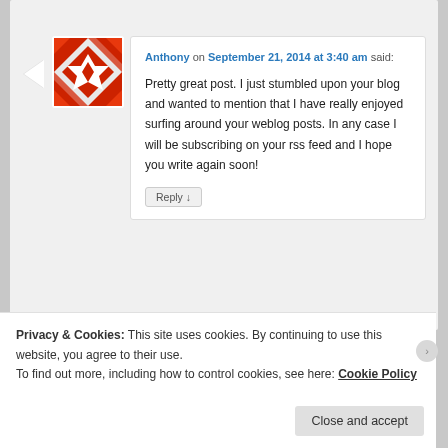[Figure (illustration): Red and white geometric/floral pattern avatar image for user Anthony]
Anthony on September 21, 2014 at 3:40 am said:
Pretty great post. I just stumbled upon your blog and wanted to mention that I have really enjoyed surfing around your weblog posts. In any case I will be subscribing on your rss feed and I hope you write again soon!
Reply ↓
Privacy & Cookies: This site uses cookies. By continuing to use this website, you agree to their use.
To find out more, including how to control cookies, see here: Cookie Policy
Close and accept